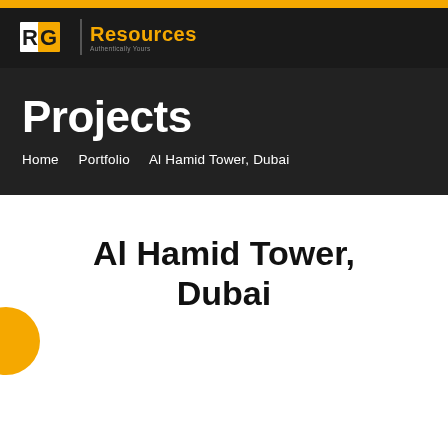RG Resources
Projects
Home   Portfolio   Al Hamid Tower, Dubai
Al Hamid Tower, Dubai